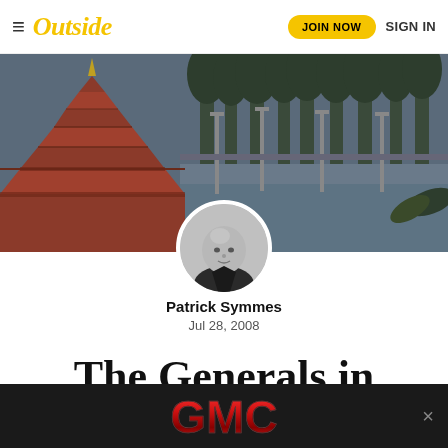Outside — JOIN NOW  SIGN IN
[Figure (photo): Aerial or elevated view of flooded area with traditional Thai-style pagoda rooftops on the left in red/brown, and a wide flooded road or area with trees and street lights on the right. Dark, overcast sky.]
[Figure (photo): Circular author headshot of Patrick Symmes — a bald white man in a dark shirt, black-and-white photo.]
Patrick Symmes
Jul 28, 2008
The Generals in
[Figure (logo): GMC logo advertisement banner — red chrome GMC letters on black background.]